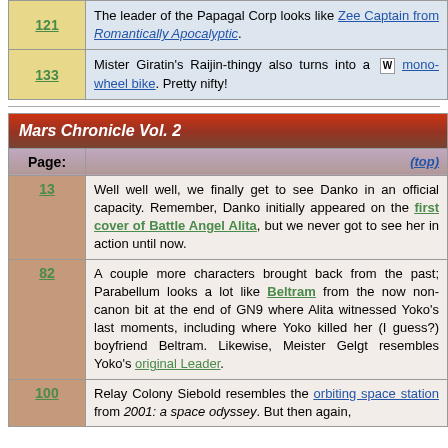| Page | Content |
| --- | --- |
| 121 | The leader of the Papagal Corp looks like Zee Captain from Romantically Apocalyptic. |
| 133 | Mister Giratin's Raijin-thingy also turns into a [W] mono-wheel bike. Pretty nifty! |
| Page: | (top) |
| --- | --- |
| 13 | Well well well, we finally get to see Danko in an official capacity. Remember, Danko initially appeared on the first cover of Battle Angel Alita, but we never got to see her in action until now. |
| 82 | A couple more characters brought back from the past; Parabellum looks a lot like Beltram from the now non-canon bit at the end of GN9 where Alita witnessed Yoko's last moments, including where Yoko killed her (I guess?) boyfriend Beltram. Likewise, Meister Gelgt resembles Yoko's original Leader. |
| 100 | Relay Colony Siebold resembles the orbiting space station from 2001: a space odyssey. But then again, |